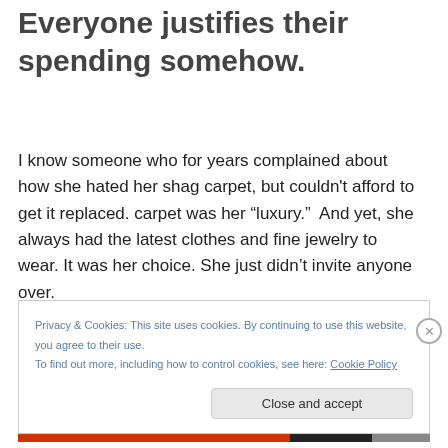Everyone justifies their spending somehow.
I know someone who for years complained about how she hated her shag carpet, but couldn't afford to get it replaced. carpet was her “luxury.”  And yet, she always had the latest clothes and fine jewelry to wear. It was her choice. She just didn’t invite anyone over.
Privacy & Cookies: This site uses cookies. By continuing to use this website, you agree to their use.
To find out more, including how to control cookies, see here: Cookie Policy
Close and accept